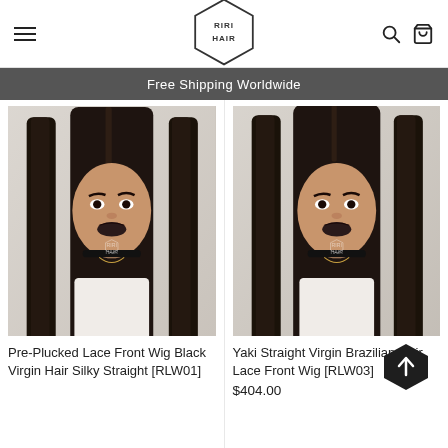RIRI HAIR
Free Shipping Worldwide
[Figure (photo): Model wearing Pre-Plucked Lace Front Wig Black Virgin Hair Silky Straight [RLW01] with long straight dark hair, white strapless top, black choker necklace, pink roses in background]
Pre-Plucked Lace Front Wig Black Virgin Hair Silky Straight [RLW01]
[Figure (photo): Model wearing Yaki Straight Virgin Brazilian Hair Lace Front Wig [RLW03] with long straight dark hair, white strapless top, black choker necklace, pink roses in background]
Yaki Straight Virgin Brazilian Hair Lace Front Wig [RLW03]
$404.00